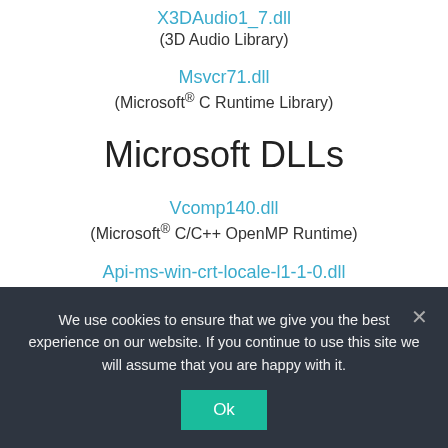X3DAudio1_7.dll
(3D Audio Library)
Msvcr71.dll
(Microsoft® C Runtime Library)
Microsoft DLLs
Vcomp140.dll
(Microsoft® C/C++ OpenMP Runtime)
Api-ms-win-crt-locale-l1-1-0.dll
(ApiSet Stub DLL)
We use cookies to ensure that we give you the best experience on our website. If you continue to use this site we will assume that you are happy with it.